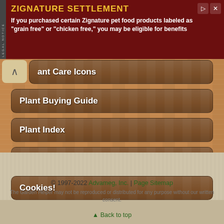[Figure (screenshot): Advertisement banner for Zignature Settlement with dark red background and yellow title text]
Plant Care Icons
Plant Buying Guide
Plant Index
Encyclopedia
Cookies!
© 1997-2022 Advameg, Inc. | Page Sitemap
The Garden Helper may not be reproduced or distributed for any purpose without our written consent.
▲ Back to top